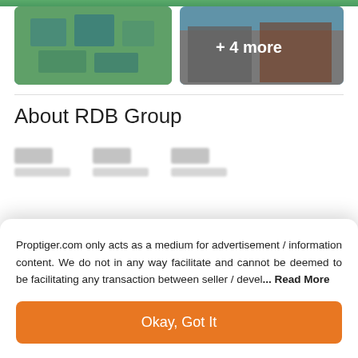[Figure (photo): Aerial/top view of a residential complex with green landscaping]
[Figure (photo): Modern commercial building exterior with + 4 more overlay]
About RDB Group
Proptiger.com only acts as a medium for advertisement / information content. We do not in any way facilitate and cannot be deemed to be facilitating any transaction between seller / devel... Read More
Okay, Got It